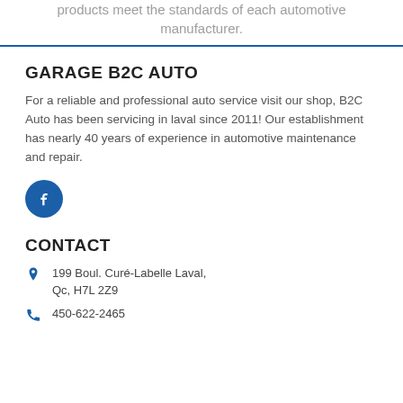products meet the standards of each automotive manufacturer.
GARAGE B2C AUTO
For a reliable and professional auto service visit our shop, B2C Auto has been servicing in laval since 2011! Our establishment has nearly 40 years of experience in automotive maintenance and repair.
[Figure (logo): Facebook icon — blue circle with white lowercase f]
CONTACT
199 Boul. Curé-Labelle Laval, Qc, H7L 2Z9
450-622-2465